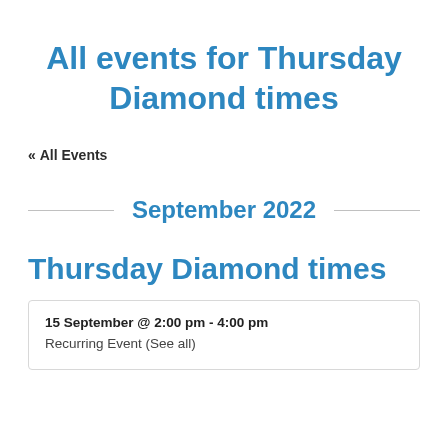All events for Thursday Diamond times
« All Events
September 2022
Thursday Diamond times
15 September @ 2:00 pm - 4:00 pm
Recurring Event (See all)